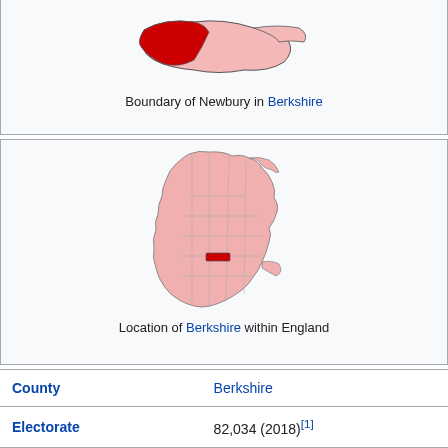[Figure (map): Map showing boundary of Newbury highlighted in red within Berkshire county shown in pink]
Boundary of Newbury in Berkshire
[Figure (map): Map showing location of Berkshire (highlighted in red) within England shown in pink with county boundaries]
Location of Berkshire within England
| County | Berkshire |
| Electorate | 82,034 (2018)[1] |
| Major settlements | Newbury, Thatcham, Hungerford |
| Current constituency |  |
| Created | 1885 |